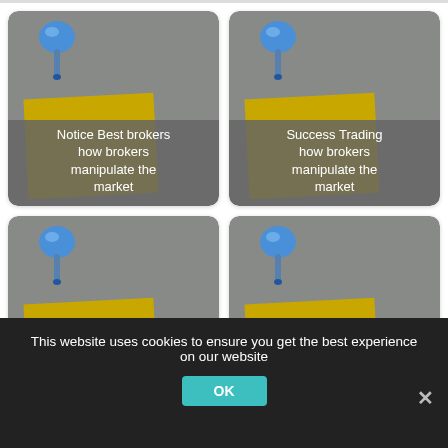[Figure (illustration): Card with pushpin and sticky note: 'Notice Best brokers how brokers manipulate the market']
[Figure (illustration): Card with pushpin and sticky note: 'Success Trading how brokers manipulate the market']
[Figure (illustration): Card with pushpin and sticky note: 'Notice Online broker how brokers manipulate the market']
[Figure (illustration): Card with pushpin and sticky note: 'Success Online brokerage how brokers manipulate the market']
This website uses cookies to ensure you get the best experience on our website
OK